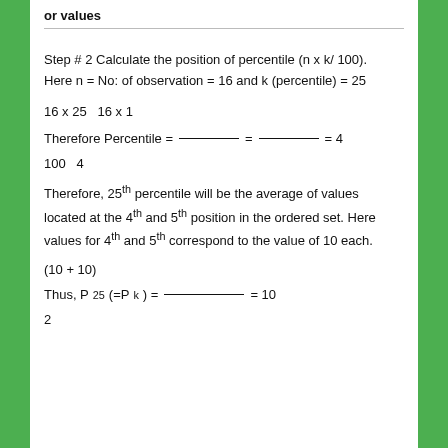or values
Step # 2 Calculate the position of percentile (n x k/ 100). Here n = No: of observation = 16 and k (percentile) = 25
100 4
Therefore, 25th percentile will be the average of values located at the 4th and 5th position in the ordered set. Here values for 4th and 5th correspond to the value of 10 each.
2